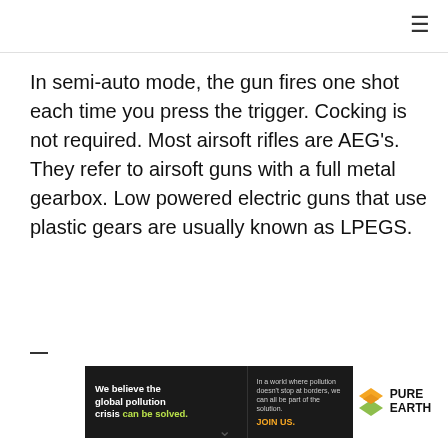≡
In semi-auto mode, the gun fires one shot each time you press the trigger. Cocking is not required. Most airsoft rifles are AEG's. They refer to airsoft guns with a full metal gearbox. Low powered electric guns that use plastic gears are usually known as LPEGS.
[Figure (other): Advertisement banner for Pure Earth organization. Left dark section: 'We believe the global pollution crisis can be solved.' Center dark section: 'In a world where pollution doesn't stop at borders, we can all be part of the solution. JOIN US.' Right white section: Pure Earth logo with diamond/arrow icon.]